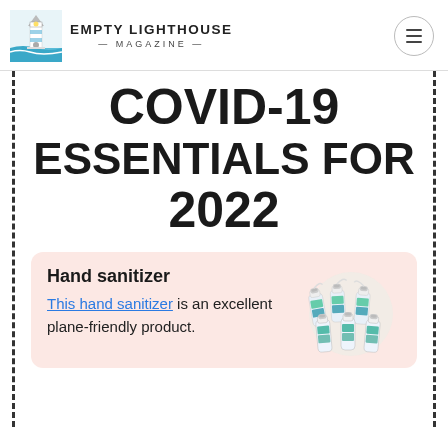EMPTY LIGHTHOUSE MAGAZINE
COVID-19 ESSENTIALS FOR 2022
Hand sanitizer
This hand sanitizer is an excellent plane-friendly product.